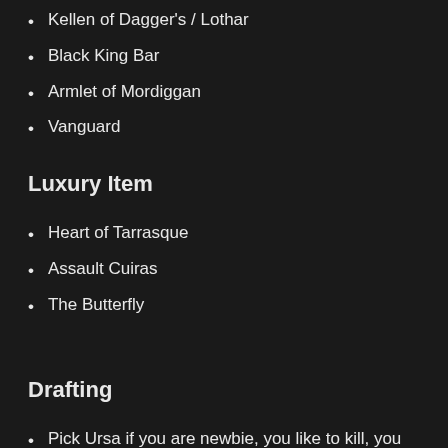Kellen of Dagger's / Lothar
Black King Bar
Armlet of Mordiggan
Vanguard
Luxury Item
Heart of Tarrasque
Assault Cuiras
The Butterfly
Drafting
Pick Ursa if you are newbie, you like to kill, you love to farms in neutral creeps.